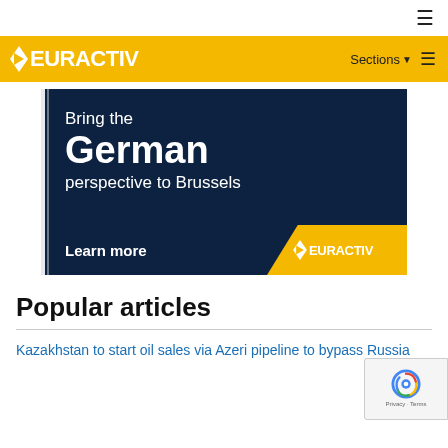☰
[Figure (logo): EURACTIV logo on yellow background header with Sections menu and hamburger icon]
[Figure (illustration): Advertisement banner: dark navy background with text 'Bring the German perspective to Brussels. Learn more' and EURACTIV logo on yellow angled box]
Popular articles
Kazakhstan to start oil sales via Azeri pipeline to bypass Russia